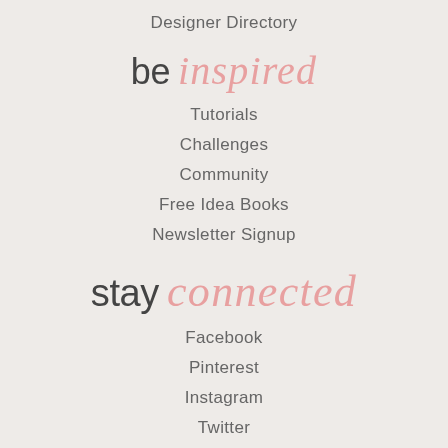Designer Directory
be inspired
Tutorials
Challenges
Community
Free Idea Books
Newsletter Signup
stay connected
Facebook
Pinterest
Instagram
Twitter
Contact Us